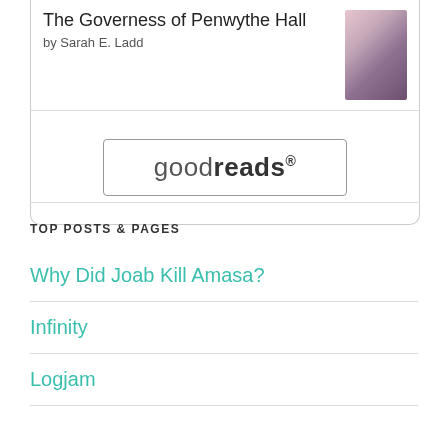[Figure (photo): Book cover thumbnail partially visible at top right]
The Governess of Penwythe Hall
by Sarah E. Ladd
[Figure (logo): Goodreads logo button with rounded rectangle border]
TOP POSTS & PAGES
Why Did Joab Kill Amasa?
Infinity
Logjam